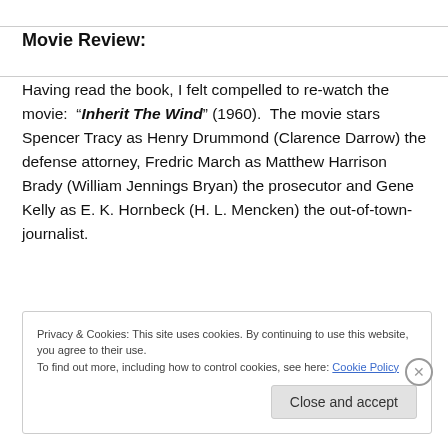Movie Review:
Having read the book, I felt compelled to re-watch the movie:  "“Inherit The Wind”" (1960).  The movie stars Spencer Tracy as Henry Drummond (Clarence Darrow) the defense attorney, Fredric March as Matthew Harrison Brady (William Jennings Bryan) the prosecutor and Gene Kelly as E. K. Hornbeck (H. L. Mencken) the out-of-town-journalist.
Privacy & Cookies: This site uses cookies. By continuing to use this website, you agree to their use.
To find out more, including how to control cookies, see here: Cookie Policy